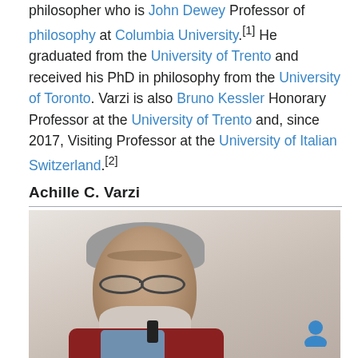philosopher who is John Dewey Professor of philosophy at Columbia University.[1] He graduated from the University of Trento and received his PhD in philosophy from the University of Toronto. Varzi is also Bruno Kessler Honorary Professor at the University of Trento and, since 2017, Visiting Professor at the University of Italian Switzerland.[2]
Achille C. Varzi
[Figure (photo): Portrait photo of Achille C. Varzi, an older man with grey hair, beard, glasses, wearing a red vest and blue shirt, holding a microphone]